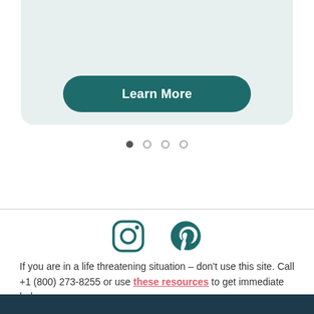[Figure (screenshot): A teal/mint card UI element with a Learn More button]
[Figure (infographic): Carousel navigation dots: one filled dark, three outlined]
[Figure (infographic): Social media icons: Instagram and Pinterest in teal color]
If you are in a life threatening situation – don't use this site. Call +1 (800) 273-8255 or use these resources to get immediate help.